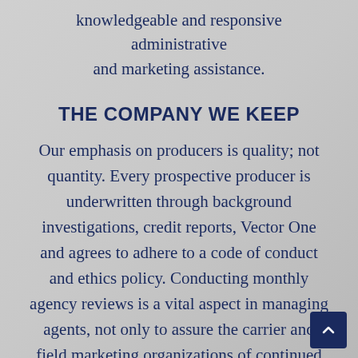knowledgeable and responsive administrative and marketing assistance.
THE COMPANY WE KEEP
Our emphasis on producers is quality; not quantity. Every prospective producer is underwritten through background investigations, credit reports, Vector One and agrees to adhere to a code of conduct and ethics policy. Conducting monthly agency reviews is a vital aspect in managing agents, not only to assure the carrier and field marketing organizations of continued production but quality business as well.